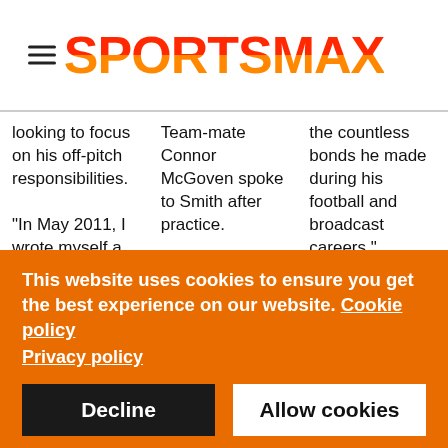SPORTSMAX
looking to focus on his off-pitch responsibilities.

"In May 2011, I wrote myself a letter. Today, May 7, 2011, 2:35am you decided that
Team-mate Connor McGoven spoke to Smith after practice.

"He gave me a nice reassuring grunt like he usually does," McGov...
the countless bonds he made during his football and broadcast careers."

Following an unsuccessful five-year stint in the NFL with the
This website uses cookies to ensure you get the best experience on our website. Cookie policy
Privacy policy
Decline
Allow cookies